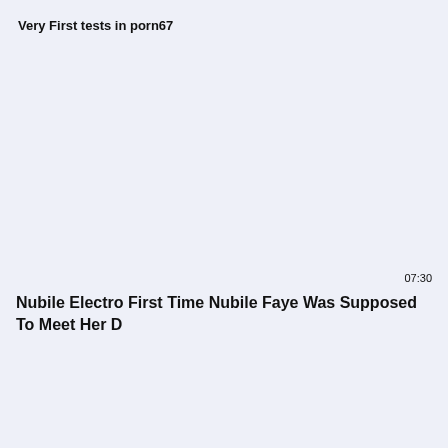Very First tests in porn67
07:30
Nubile Electro First Time Nubile Faye Was Supposed To Meet Her D